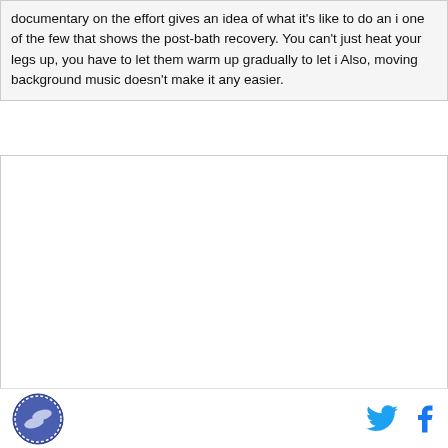documentary on the effort gives an idea of what it's like to do an i one of the few that shows the post-bath recovery. You can't just heat your legs up, you have to let them warm up gradually to let i Also, moving background music doesn't make it any easier.
[Figure (other): Large white/blank content area below the text block]
Logo icon (running shoes circular badge) on the left; Twitter and Facebook social icons on the right